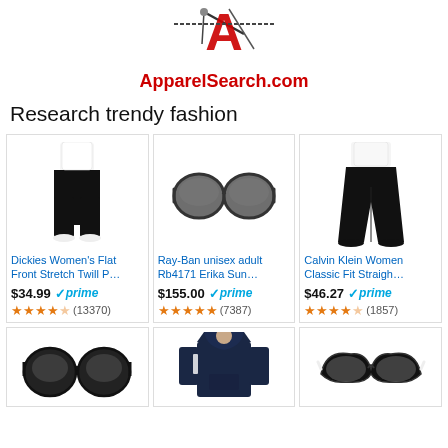[Figure (logo): ApparelSearch.com logo with needle and thread graphic above red text]
Research trendy fashion
[Figure (photo): Dickies Women's Flat Front Stretch Twill Pants product photo]
Dickies Women's Flat Front Stretch Twill P…
$34.99 prime
★★★★☆ (13370)
[Figure (photo): Ray-Ban unisex adult Rb4171 Erika Sunglasses product photo]
Ray-Ban unisex adult Rb4171 Erika Sun…
$155.00 prime
★★★★★ (7387)
[Figure (photo): Calvin Klein Women Classic Fit Straight pants product photo]
Calvin Klein Women Classic Fit Straigh…
$46.27 prime
★★★★☆ (1857)
[Figure (photo): Ray-Ban large round sunglasses product photo (bottom row, partial)]
[Figure (photo): Navy hoodie sweatshirt product photo (bottom row, partial)]
[Figure (photo): Cat-eye sunglasses product photo (bottom row, partial)]